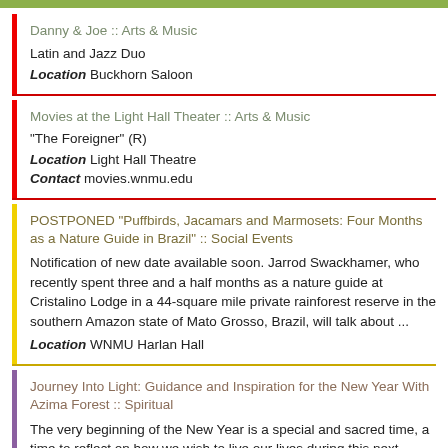Danny & Joe  ::  Arts & Music
Latin and Jazz Duo
Location  Buckhorn Saloon
Movies at the Light Hall Theater  ::  Arts & Music
"The Foreigner" (R)
Location  Light Hall Theatre
Contact  movies.wnmu.edu
POSTPONED "Puffbirds, Jacamars and Marmosets: Four Months as a Nature Guide in Brazil"  ::  Social Events
Notification of new date available soon. Jarrod Swackhamer, who recently spent three and a half months as a nature guide at Cristalino Lodge in a 44-square mile private rainforest reserve in the southern Amazon state of Mato Grosso, Brazil, will talk about ...
Location  WNMU Harlan Hall
Journey Into Light: Guidance and Inspiration for the New Year With Azima Forest  ::  Spiritual
The very beginning of the New Year is a special and sacred time, a time to reflect on how we wish to live our lives during this next